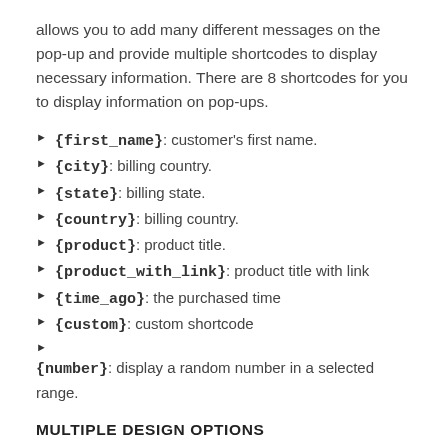allows you to add many different messages on the pop-up and provide multiple shortcodes to display necessary information. There are 8 shortcodes for you to display information on pop-ups.
{first_name}: customer's first name.
{city}: billing country.
{state}: billing state.
{country}: billing country.
{product}: product title.
{product_with_link}: product title with link
{time_ago}: the purchased time
{custom}: custom shortcode
{number}: display a random number in a selected range.
MULTIPLE DESIGN OPTIONS
Notification for the WooCommerce plugin provides